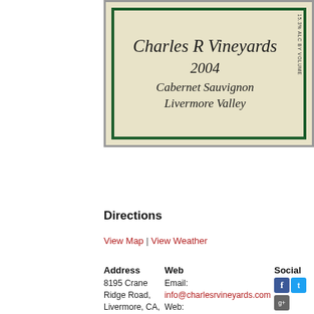[Figure (illustration): Wine bottle label for Charles R Vineyards, 2004 Cabernet Sauvignon, Livermore Valley. Cream/tan background with dark green double border. Cursive/italic text. Side text: 15.3% ALC BY VOLUME.]
Directions
View Map | View Weather
| Address | Web | Social |
| --- | --- | --- |
| 8195 Crane Ridge Road, Livermore, CA, US, 94550
Phone: 925-337-3081
Fax: | Email:
info@charlesrvineyards.com
Web:
www.charlesrvineyards.com |  |